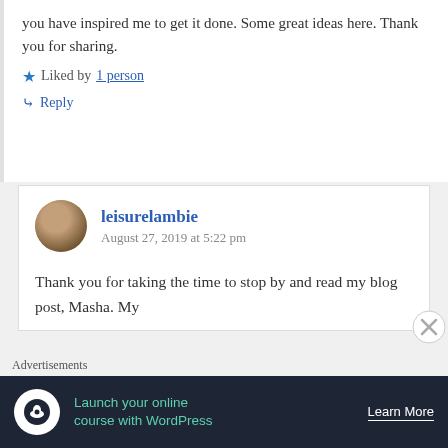you have inspired me to get it done. Some great ideas here. Thank you for sharing.
Liked by 1 person
Reply
leisurelambie
August 27, 2019 at 5:22 pm
Thank you for taking the time to stop by and read my blog post, Masha. My
Advertisements
[Figure (infographic): Advertisement banner for WordPress course: 'Launch your online course with WordPress' with Learn More button on dark navy background]